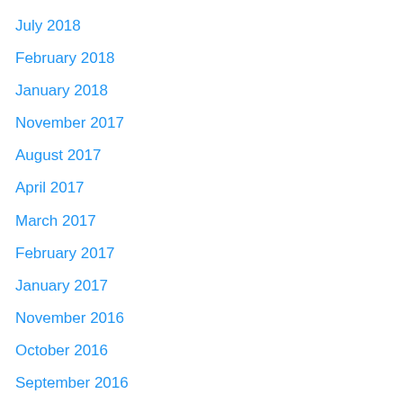July 2018
February 2018
January 2018
November 2017
August 2017
April 2017
March 2017
February 2017
January 2017
November 2016
October 2016
September 2016